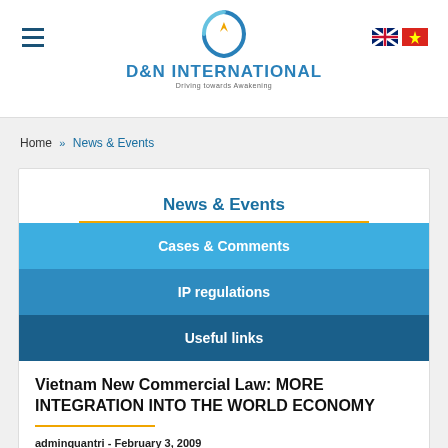[Figure (logo): D&N International logo with circular arrow icon and tagline 'Driving towards Awakening']
Home » News & Events
News & Events
Cases & Comments
IP regulations
Useful links
Vietnam New Commercial Law: MORE INTEGRATION INTO THE WORLD ECONOMY
adminquantri - February 3, 2009
In an effort to comply with international legal practice and